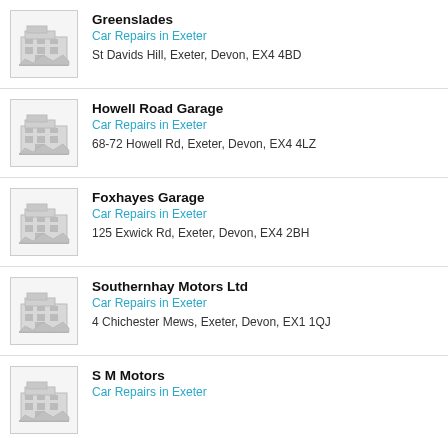Greenslades
Car Repairs in Exeter
St Davids Hill, Exeter, Devon, EX4 4BD
Howell Road Garage
Car Repairs in Exeter
68-72 Howell Rd, Exeter, Devon, EX4 4LZ
Foxhayes Garage
Car Repairs in Exeter
125 Exwick Rd, Exeter, Devon, EX4 2BH
Southernhay Motors Ltd
Car Repairs in Exeter
4 Chichester Mews, Exeter, Devon, EX1 1QJ
S M Motors
Car Repairs in Exeter